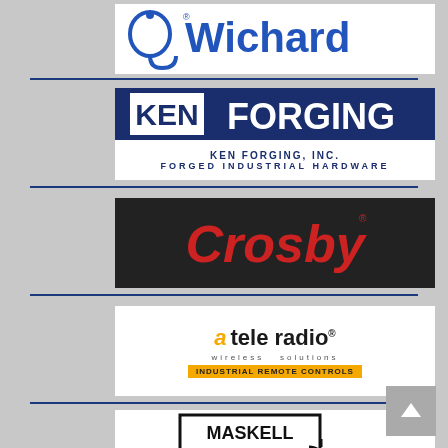[Figure (logo): Wichard brand logo with hook icon and blue text]
[Figure (logo): Ken Forging, Inc. logo - Forged Industrial Hardware, dark blue background]
[Figure (logo): Crosby brand logo in red text on dark background]
[Figure (logo): Tele Radio wireless solutions - Industrial Remote Controls logo]
[Figure (logo): Maskell Rigging logo with hook and phone number (951) 900-7460]